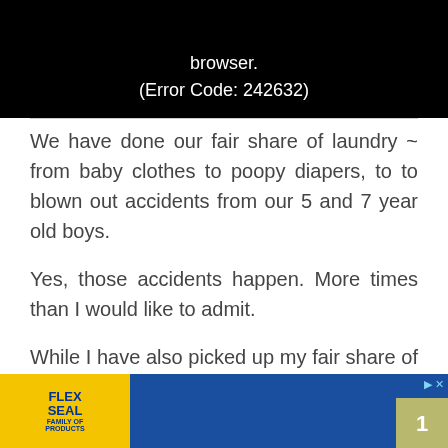[Figure (screenshot): Video player error screen showing black background with white text: 'browser.' and '(Error Code: 242632)']
We have done our fair share of laundry ~ from baby clothes to poopy diapers, to to blown out accidents from our 5 and 7 year old boys.
Yes, those accidents happen. More times than I would like to admit.
While I have also picked up my fair share of eco-friendly detergent … the cost associated with them is just something that is really, really hard to swallow.
I also [ad overlay] or my kids t[ad overlay] their